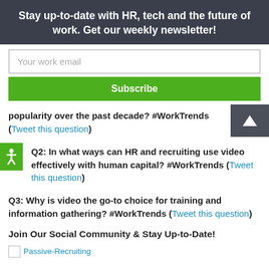Stay up-to-date with HR, tech and the future of work. Get our weekly newsletter!
Your work email
Subscribe
popularity over the past decade? #WorkTrends (Tweet this question)
Q2: In what ways can HR and recruiting use video effectively with human capital? #WorkTrends (Tweet this question)
Q3: Why is video the go-to choice for training and information gathering? #WorkTrends (Tweet this question)
Join Our Social Community & Stay Up-to-Date!
[Figure (illustration): Passive-Recruiting image placeholder]